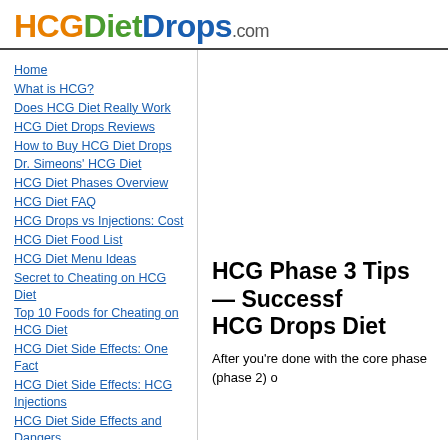HCGDietDrops.com
Home
What is HCG?
Does HCG Diet Really Work
HCG Diet Drops Reviews
How to Buy HCG Diet Drops
Dr. Simeons' HCG Diet
HCG Diet Phases Overview
HCG Diet FAQ
HCG Drops vs Injections: Cost
HCG Diet Food List
HCG Diet Menu Ideas
Secret to Cheating on HCG Diet
Top 10 Foods for Cheating on HCG Diet
HCG Diet Side Effects: One Fact
HCG Diet Side Effects: HCG Injections
HCG Diet Side Effects and Dangers
Blood Sugar on the HCG Diet
Headache on the HCG Diet
HCG Phase 1: What is it?
HCG Phase 3 Tips — Successf... HCG Drops Diet
After you're done with the core phase (phase 2) o...